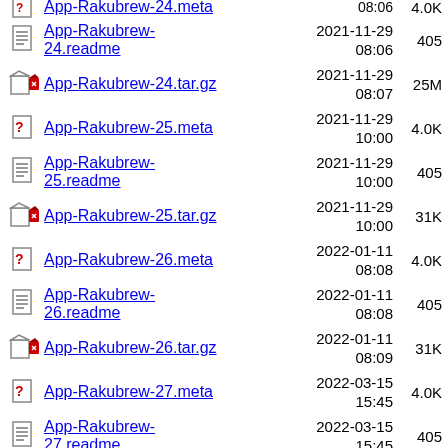App-Rakubrew-24.readme  2021-11-29 08:06  405
App-Rakubrew-24.tar.gz  2021-11-29 08:07  25M
App-Rakubrew-25.meta  2021-11-29 10:00  4.0K
App-Rakubrew-25.readme  2021-11-29 10:00  405
App-Rakubrew-25.tar.gz  2021-11-29 10:00  31K
App-Rakubrew-26.meta  2022-01-11 08:08  4.0K
App-Rakubrew-26.readme  2022-01-11 08:08  405
App-Rakubrew-26.tar.gz  2022-01-11 08:09  31K
App-Rakubrew-27.meta  2022-03-15 15:45  4.0K
App-Rakubrew-27.readme  2022-03-15 15:45  405
App-Rakubrew-27.tar.gz  2022-03-15 15:48  17M